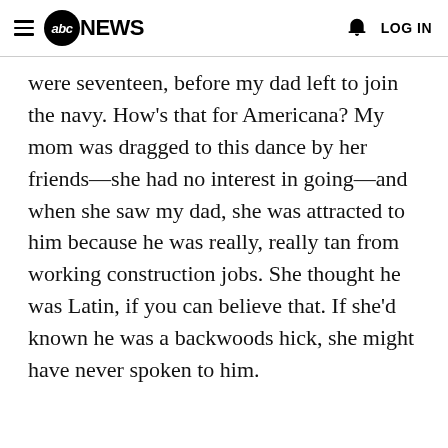abc NEWS  LOG IN
were seventeen, before my dad left to join the navy. How's that for Americana? My mom was dragged to this dance by her friends—she had no interest in going—and when she saw my dad, she was attracted to him because he was really, really tan from working construction jobs. She thought he was Latin, if you can believe that. If she'd known he was a backwoods hick, she might have never spoken to him.